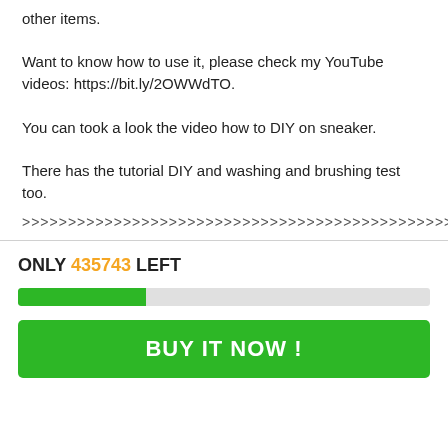other items.
Want to know how to use it, please check my YouTube videos: https://bit.ly/2OWWdTO.
You can took a look the video how to DIY on sneaker.
There has the tutorial DIY and washing and brushing test too.
>>>>>>>>>>>>>>>>>>>>>>>>>>>>>>>>>>>>>>>>>>>>>>>>>>>>
ONLY 435743 LEFT
BUY IT NOW !